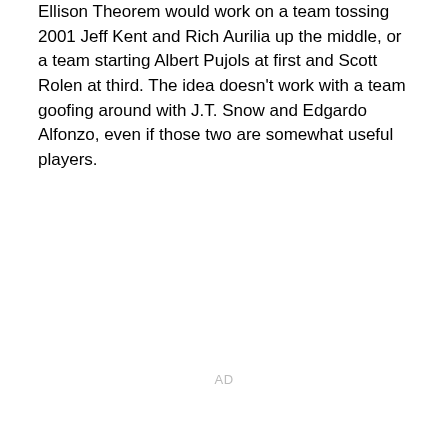Ellison Theorem would work on a team tossing 2001 Jeff Kent and Rich Aurilia up the middle, or a team starting Albert Pujols at first and Scott Rolen at third. The idea doesn't work with a team goofing around with J.T. Snow and Edgardo Alfonzo, even if those two are somewhat useful players.
AD